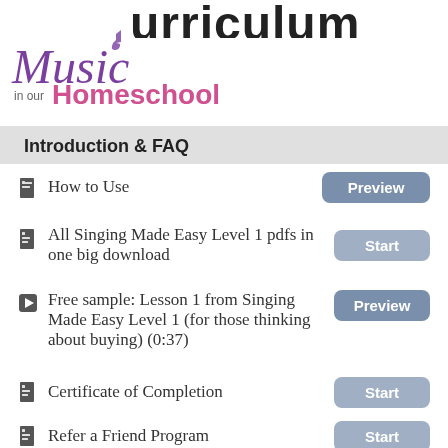curriculum
[Figure (logo): Music in our Homeschool logo with stylized cursive 'Music' in purple and 'Homeschool' in pink]
Introduction & FAQ
How to Use — Preview
All Singing Made Easy Level 1 pdfs in one big download — Start
Free sample: Lesson 1 from Singing Made Easy Level 1 (for those thinking about buying) (0:37) — Preview
Certificate of Completion — Start
Refer a Friend Program — Start
Level 1 Lessons
All Level 1 Lessons... — Start